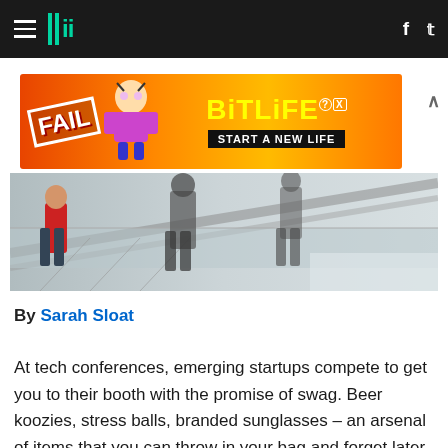HuffPost header with hamburger menu, logo, Facebook and Twitter icons
[Figure (photo): Advertisement banner for BitLife mobile game showing 'FAIL' text, cartoon character, flames, and 'START A NEW LIFE' tagline]
[Figure (photo): Photo of people on an escalator, silhouetted figures visible from the side]
By Sarah Sloat
At tech conferences, emerging startups compete to get you to their booth with the promise of swag. Beer koozies, stress balls, branded sunglasses – an arsenal of items that you can throw in your bag and forget later. But, at one booth at Techweek New York, a crowd